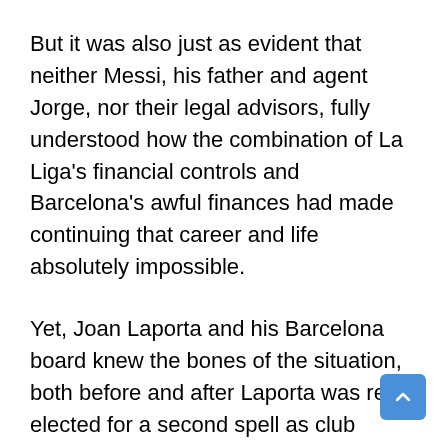But it was also just as evident that neither Messi, his father and agent Jorge, nor their legal advisors, fully understood how the combination of La Liga's financial controls and Barcelona's awful finances had made continuing that career and life absolutely impossible.
Yet, Joan Laporta and his Barcelona board knew the bones of the situation, both before and after Laporta was re-elected for a second spell as club president in March.
The Athletic's Dermot Corrigan explains how Messi left Barcelona because of the club, not